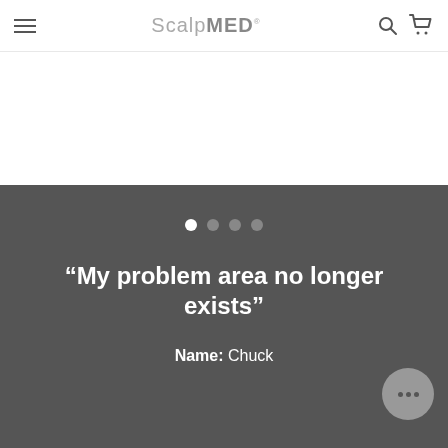ScalpMED – navigation bar with hamburger menu, logo, search and cart icons
[Figure (screenshot): Carousel pagination dots – one white active dot followed by three gray inactive dots]
“My problem area no longer exists”
Name: Chuck